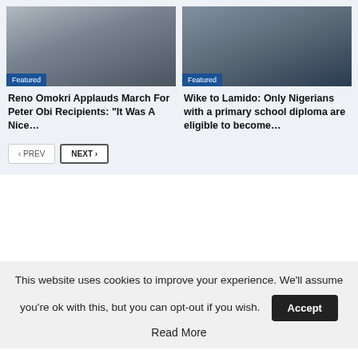[Figure (photo): Photo of person with flag in background, labeled Featured]
[Figure (photo): Photo of two men, labeled Featured]
Reno Omokri Applauds March For Peter Obi Recipients: “It Was A Nice…
Wike to Lamido: Only Nigerians with a primary school diploma are eligible to become…
‹ PREV   NEXT ›
This website uses cookies to improve your experience. We’ll assume you’re ok with this, but you can opt-out if you wish.
Accept
Read More